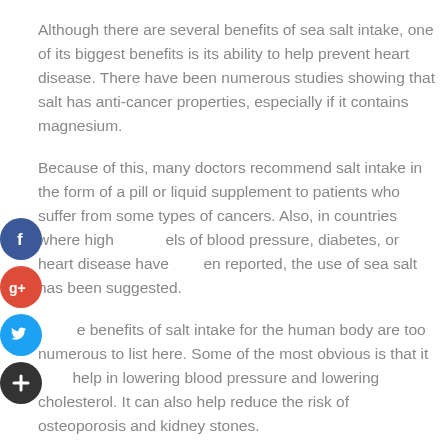Although there are several benefits of sea salt intake, one of its biggest benefits is its ability to help prevent heart disease. There have been numerous studies showing that salt has anti-cancer properties, especially if it contains magnesium.
Because of this, many doctors recommend salt intake in the form of a pill or liquid supplement to patients who suffer from some types of cancers. Also, in countries where high levels of blood pressure, diabetes, or heart disease have been reported, the use of sea salt has been suggested.
The benefits of salt intake for the human body are too numerous to list here. Some of the most obvious is that it can help in lowering blood pressure and lowering cholesterol. It can also help reduce the risk of osteoporosis and kidney stones.
[Figure (infographic): Four social sharing icon circles on the left side: Facebook (blue), Google+ (red), Twitter (blue), and a dark plus/share button]